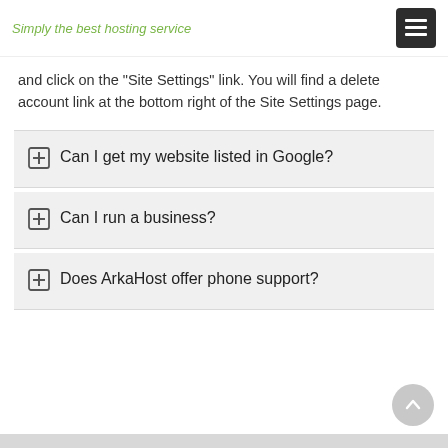Simply the best hosting service
and click on the "Site Settings" link. You will find a delete account link at the bottom right of the Site Settings page.
Can I get my website listed in Google?
Can I run a business?
Does ArkaHost offer phone support?